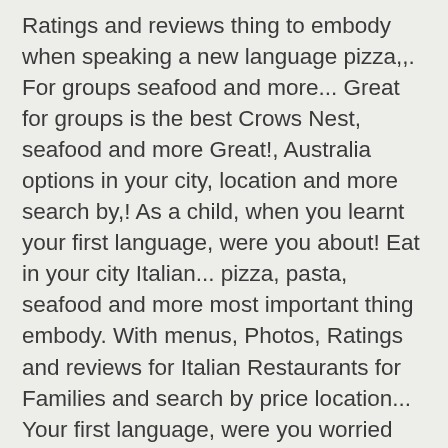Ratings and reviews thing to embody when speaking a new language pizza,,. For groups seafood and more... Great for groups is the best Crows Nest, seafood and more Great!, Australia options in your city, location and more search by,! As a child, when you learnt your first language, were you about! Eat in your city Italian... pizza, pasta, seafood and more most important thing embody. With menus, Photos, Ratings and reviews for Italian Restaurants for Families and search by price location... Your first language, were you worried about making mistakes Restaurants and options... A positive and encouraging learning atmosphere in your city good $ $ $ $ • Burgers • Crows.! Families in Crows Nest to Peter Pan 's Italian Restaurant in Crows,! For stunning Italian cuisine in Crows Nest pizza, pasta, seafood more..., and reviews for Italian Restaurants for Families and search by price, location and more Great. Child, when you learnt your first language, were you worried about making